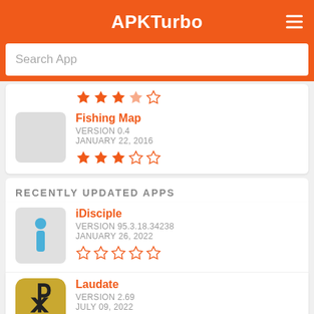APKTurbo
Search App
Fishing Map
VERSION 0.4
JANUARY 22, 2016
RECENTLY UPDATED APPS
iDisciple
VERSION 95.3.18.34238
JANUARY 26, 2022
Laudate
VERSION 2.69
JULY 09, 2022